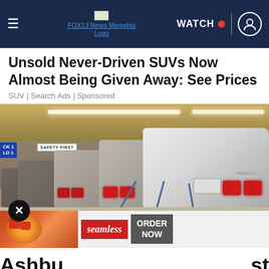FOX13 News Memphis Logo | WATCH | User icon
Unsold Never-Driven SUVs Now Almost Being Given Away: See Prices
SUV | Search Ads | Sponsored
[Figure (photo): Row of unsold white and silver Mercedes-Benz SUVs parked in a parking garage, viewed from behind, with tail lights visible and a Safety First sign on the wall.]
Ashbu
st